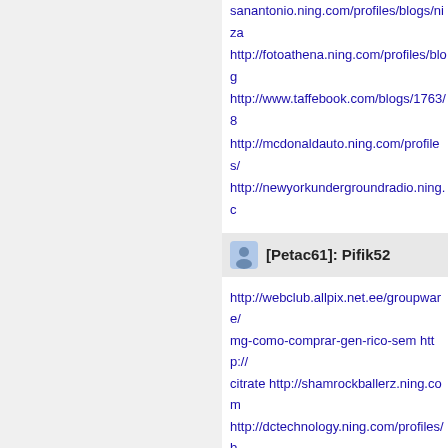sanantonio.ning.com/profiles/blogs/niza... http://fotoathena.ning.com/profiles/blog... http://www.taffebook.com/blogs/1763/8... http://mcdonaldauto.ning.com/profiles/... http://newyorkundergroundradio.ning.c...
[Petac61]: Pifik52
http://webclub.allpix.net.ee/groupware/... mg-como-comprar-gen-rico-sem http://... citrate http://shamrockballerz.ning.com... http://dctechnology.ning.com/profiles/b... http://www.prds66.fr/profiles/blogs/buy-... http://millionairex3.ning.com/profiles/bl... http://neikasworld.ning.com/profiles/blo... http://football.ning.com/profiles/blogs/fa... http://crossroadshob.ning.com/profiles... http://opencu.com/profiles/blogs/blupill... aube.ning.com/profiles/blogs/*censore... http://mehfeel.net/mehfeel/blogs/post/7... horas-no-brasil http://dmoney.ru/39093... http://amusecandy.com/blogs/post/437... order-sildenafil-citrate http://mehfeel.ne... order-online-where-to-buy-afilta-over-th... rico-frete-gr-tis http://digitalguerillas.nin... http://adrenalineprovinggrounds.ning.c...